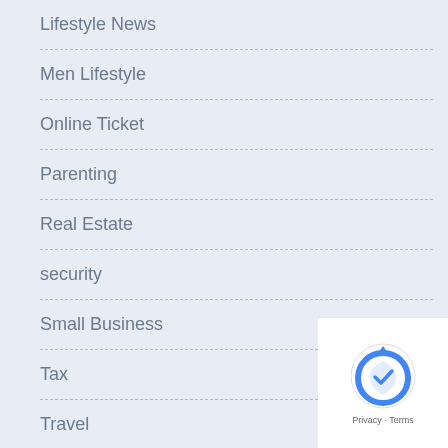Lifestyle News
Men Lifestyle
Online Ticket
Parenting
Real Estate
security
Small Business
Tax
Travel
Yoga Lifestyle